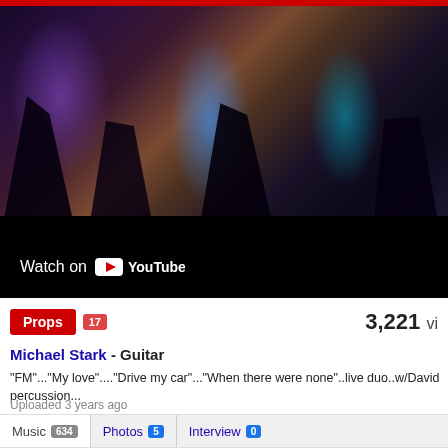[Figure (screenshot): YouTube video thumbnail showing a live music performance with people silhouetted against purple and blue stage lighting. A 'Watch on YouTube' overlay is shown at the bottom left of the video.]
Props 17   3,221 vi
Michael Stark - Guitar
"FM"..."My love"...."Drive my car"..."When there were none"..live duo..w/David percussion...
Uploaded 3 years ago
Music 634   Photos 5   Interview 0
[Figure (photo): Three thumbnail images showing music-related scenes: outdoor trees/performer, blue-lit studio with piano and drums, purple-lit performance venue.]